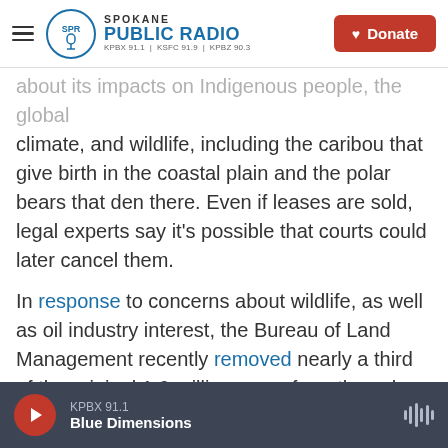Spokane Public Radio — KPBX 91.1 | KSFC 91.9 | KPBZ 90.3 — Donate
about its impacts on Indigenous people, the global climate, and wildlife, including the caribou that give birth in the coastal plain and the polar bears that den there. Even if leases are sold, legal experts say it's possible that courts could later cancel them.
In response to concerns about wildlife, as well as oil industry interest, the Bureau of Land Management recently removed nearly a third of the original 1.6 million acres from the sale. Geologist Houseknect says those areas do not have high potential for oil.
'Very little capital for exploration'
KPBX 91.1 — Blue Dimensions